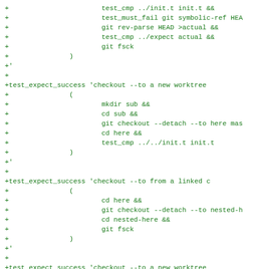+			test_cmp ../init.t init.t &&
+			test_must_fail git symbolic-ref HEA
+			git rev-parse HEAD >actual &&
+			test_cmp ../expect actual &&
+			git fsck
+		)
+'
+
+test_expect_success 'checkout --to a new worktree
+		(
+			mkdir sub &&
+			cd sub &&
+			git checkout --detach --to here mas
+			cd here &&
+			test_cmp ../../init.t init.t
+		)
+'
+
+test_expect_success 'checkout --to from a linked c
+		(
+			cd here &&
+			git checkout --detach --to nested-h
+			cd nested-here &&
+			git fsck
+		)
+'
+
+test_expect_success 'checkout --to a new worktree
+		git checkout --to there -b newmaster master
+		(